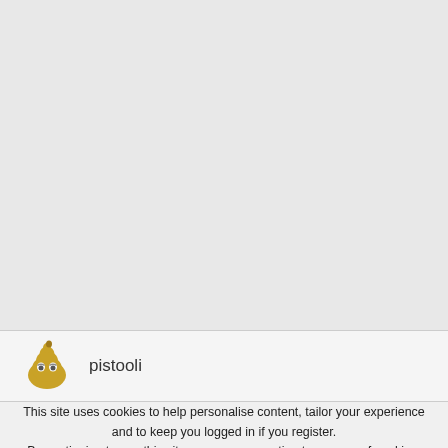[Figure (illustration): Gray empty area taking up the top portion of the screenshot]
[Figure (illustration): User avatar — cartoon poop emoji character with tired eyes and a small hat, yellow-brown color]
pistooli
This site uses cookies to help personalise content, tailor your experience and to keep you logged in if you register.
By continuing to use this site, you are consenting to our use of cookies.
✓ Accept   Learn more...